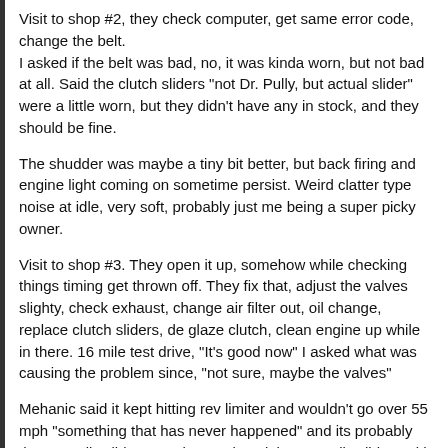Visit to shop #2, they check computer, get same error code, change the belt.
I asked if the belt was bad, no, it was kinda worn, but not bad at all. Said the clutch sliders "not Dr. Pully, but actual slider" were a little worn, but they didn't have any in stock, and they should be fine.
The shudder was maybe a tiny bit better, but back firing and engine light coming on sometime persist. Weird clatter type noise at idle, very soft, probably just me being a super picky owner.
Visit to shop #3. They open it up, somehow while checking things timing get thrown off. They fix that, adjust the valves slighty, check exhaust, change air filter out, oil change, replace clutch sliders, de glaze clutch, clean engine up while in there. 16 mile test drive, "It's good now" I asked what was causing the problem since, "not sure, maybe the valves"
Mehanic said it kept hitting rev limiter and wouldn't go over 55 mph "something that has never happened" and its probably the Dr. Pully sliders. So they replaced the Dr. Pully sliders with stock rollers and it fixes this rev limiter issue that I never experienced.
So tonight I take the bike out on a 20 mile stop and go mostly under 40 ride to really warm up the tranny. And I get this